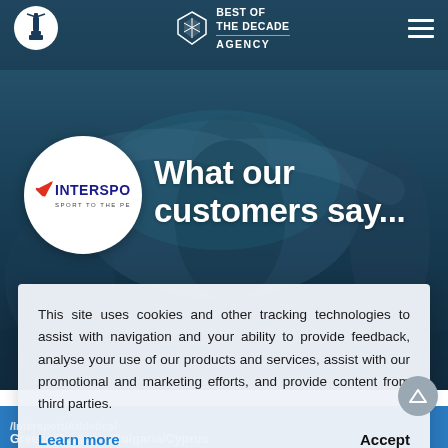BEST OF THE DECADE AGENCY
[Figure (screenshot): Hero background with people (swimmers/divers) with teal and dark blue tones]
[Figure (logo): INTERSPORT - SPORT TO THE PEOPLE logo in a white circle]
What our customers say...
This site uses cookies and other tracking technologies to assist with navigation and your ability to provide feedback, analyse your use of our products and services, assist with our promotional and marketing efforts, and provide content from third parties.
Learn more
Accept
/Intersport/Athletics/ Greece/Romania/Bulgaria/Cyprus